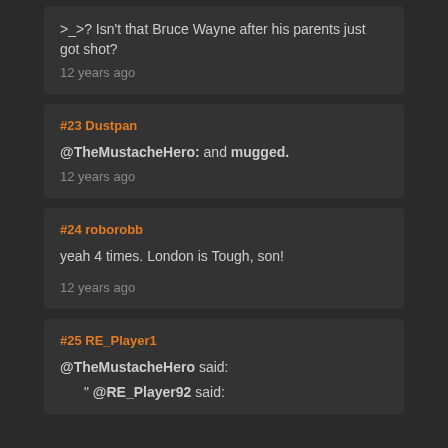>_>? Isn't that Bruce Wayne after his parents just got shot?
12 years ago
#23 Dustpan
@TheMustacheHero: and mugged.
12 years ago
#24 roborobb
yeah 4 times. London is Tough, son!
12 years ago
#25 RE_Player1
@TheMustacheHero said:
" @RE_Player92 said: